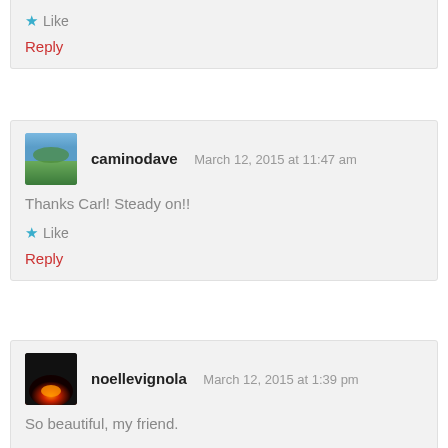Like
Reply
caminodave   March 12, 2015 at 11:47 am
Thanks Carl! Steady on!!
Like
Reply
noellevignola   March 12, 2015 at 1:39 pm
So beautiful, my friend.